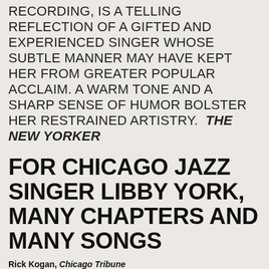RECORDING, IS A TELLING REFLECTION OF A GIFTED AND EXPERIENCED SINGER WHOSE SUBTLE MANNER MAY HAVE KEPT HER FROM GREATER POPULAR ACCLAIM. A WARM TONE AND A SHARP SENSE OF HUMOR BOLSTER HER RESTRAINED ARTISTRY. THE NEW YORKER
FOR CHICAGO JAZZ SINGER LIBBY YORK, MANY CHAPTERS AND MANY SONGS
Rick Kogan, Chicago Tribune
Libby York, who will be appearing this week at the Jazz Showcase, is Chicago born and bred and has carried this town